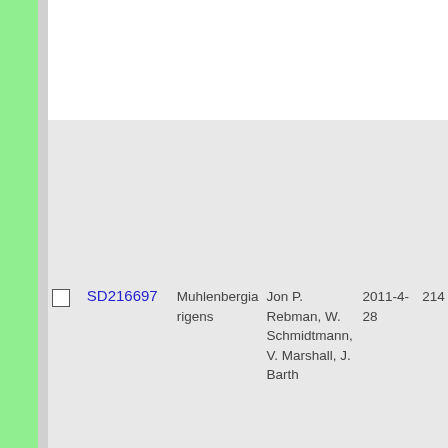|  | ID | Species | Collector | Date | Num |
| --- | --- | --- | --- | --- | --- |
| ☐ | SD216697 | Muhlenbergia rigens | Jon P. Rebman, W. Schmidtmann, V. Marshall, J. Barth | 2011-4-28 | 214 |
| ☐ | SD217496 | Muhlenbergia rigens | Jerilyn Hirshberg | 2009-6-27 | 213 |